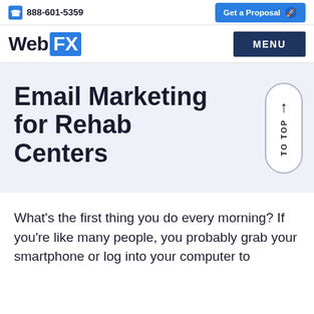888-601-5359 | Get a Proposal
WebFX | MENU
Email Marketing for Rehab Centers
What's the first thing you do every morning? If you're like many people, you probably grab your smartphone or log into your computer to